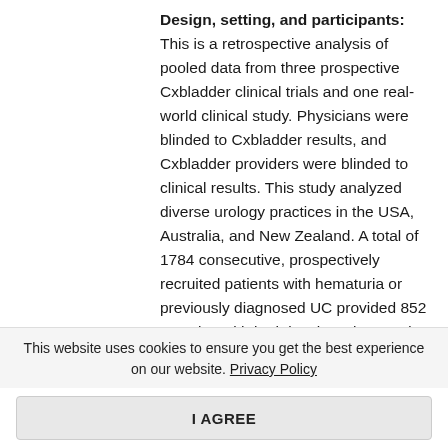Design, setting, and participants: This is a retrospective analysis of pooled data from three prospective Cxbladder clinical trials and one real-world clinical study. Physicians were blinded to Cxbladder results, and Cxbladder providers were blinded to clinical results. This study analyzed diverse urology practices in the USA, Australia, and New Zealand. A total of 1784 consecutive, prospectively recruited patients with hematuria or previously diagnosed UC provided 852 samples with both local cytology and Cxbladder results; 153 had atypical cytologies and 14 had both atypical cytology and equivocal cystoscopy.
Outcome measurements and statistical analysis:
This website uses cookies to ensure you get the best experience on our website. Privacy Policy
I AGREE